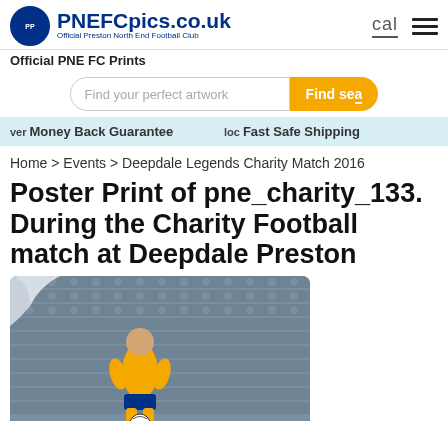PNEFCpics.co.uk Official Preston North End Football Club
Official PNE FC Prints
Find your perfect artwork  Find search
ver Money Back Guarantee   loc Fast Safe Shipping
Home > Events > Deepdale Legends Charity Match 2016
Poster Print of pne_charity_133. During the Charity Football match at Deepdale Preston
[Figure (photo): A football player wearing a yellow kit kicking a ball, taken during a charity football match at Deepdale Preston. The stadium seats are visible in the background. A page-curl effect appears in the top-left corner of the image.]